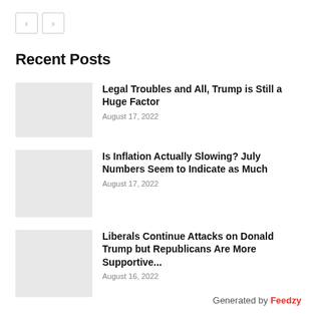< >
Recent Posts
Legal Troubles and All, Trump is Still a Huge Factor
August 17, 2022
Is Inflation Actually Slowing? July Numbers Seem to Indicate as Much
August 17, 2022
Liberals Continue Attacks on Donald Trump but Republicans Are More Supportive...
August 16, 2022
Generated by Feedzy